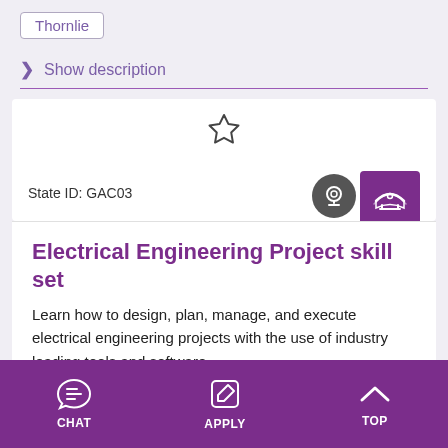Thornlie
> Show description
State ID: GAC03
Electrical Engineering Project skill set
Learn how to design, plan, manage, and execute electrical engineering projects with the use of industry leading tools and software.
Delivered at:
CHAT   APPLY   TOP